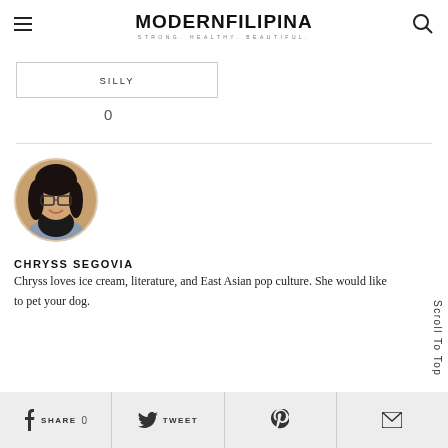MODERNFILIPINA — STRONG. HEALTHY. BEAUTIFUL.
SILLY
0
[Figure (photo): Circular portrait photo of Chryss Segovia, a young woman with glasses, smiling, wearing a grey jacket, with a warm autumn-toned background.]
CHRYSS SEGOVIA
Chryss loves ice cream, literature, and East Asian pop culture. She would like to pet your dog.
Scroll To Top
SHARE   0   TWEET   (Pinterest icon)   (Email icon)